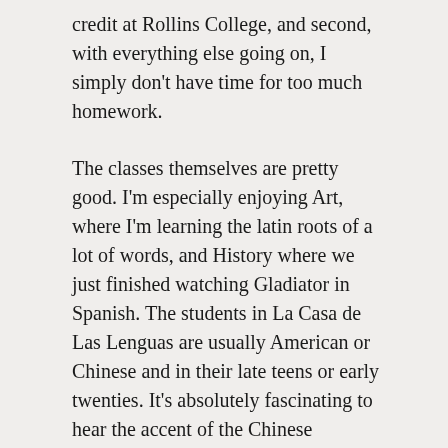credit at Rollins College, and second, with everything else going on, I simply don't have time for too much homework.
The classes themselves are pretty good. I'm especially enjoying Art, where I'm learning the latin roots of a lot of words, and History where we just finished watching Gladiator in Spanish. The students in La Casa de Las Lenguas are usually American or Chinese and in their late teens or early twenties. It's absolutely fascinating to hear the accent of the Chinese students and I find it impressive that there are so many in my English to Spanish translation class.
La Universidad